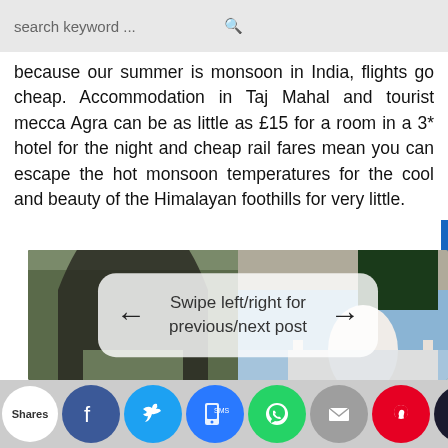search keyword ...
because our summer is monsoon in India, flights go cheap. Accommodation in Taj Mahal and tourist mecca Agra can be as little as £15 for a room in a 3* hotel for the night and cheap rail fares mean you can escape the hot monsoon temperatures for the cool and beauty of the Himalayan foothills for very little.
[Figure (photo): Photo collage showing an arched Mughal architectural frame on the left with a landscape view, and the Taj Mahal on the right with trees. Center overlay reads 'Swipe left/right for previous/next post' with left and right arrows.]
Shares [social sharing icons: Facebook, Twitter, SMS, WhatsApp, Email, Pinterest, Crown]